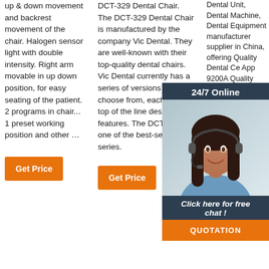up & down movement and backrest movement of the chair. Halogen sensor light with double intensity. Right arm movable in up down position, for easy seating of the patient. 2 programs in chair... 1 preset working position and other …
DCT-329 Dental Chair. The DCT-329 Dental Chair is manufactured by the company Vic Dental. They are well-known with their top-quality dental chairs. Vic Dental currently has a series of versions to choose from, each utilizing top of the line design and features. The DCT-329 is one of the best-selling series.
Dental Unit, Dental Machine, Dental Equipment manufacturer supplier in China, offering Quality Dental Ce App 9200A Quality Chair w Approv A300 f Super Mulfuc S730 Implant Unit (Luxurious type) and so on.
[Figure (photo): Customer service representative with headset, 24/7 Online chat widget overlay with dark background, showing 'Click here for free chat!' text and QUOTATION button in orange]
[Figure (other): TOP navigation icon with orange dots arranged in triangle shape above 'TOP' text]